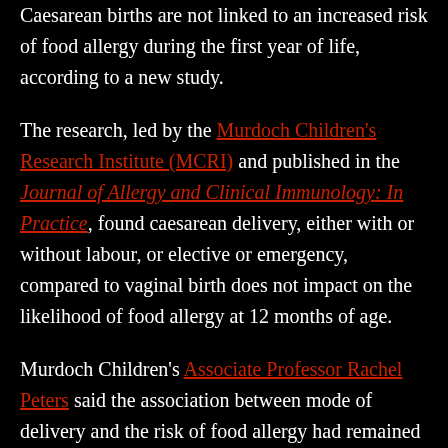Caesarean births are not linked to an increased risk of food allergy during the first year of life, according to a new study.
The research, led by the Murdoch Children's Research Institute (MCRI) and published in the Journal of Allergy and Clinical Immunology: In Practice, found caesarean delivery, either with or without labour, or elective or emergency, compared to vaginal birth does not impact on the likelihood of food allergy at 12 months of age.
Murdoch Children's Associate Professor Rachel Peters said the association between mode of delivery and the risk of food allergy had remained unclear prior to this study due to the lack of studies linking accurate food challenge outcomes to detailed information on the type of caesarean...